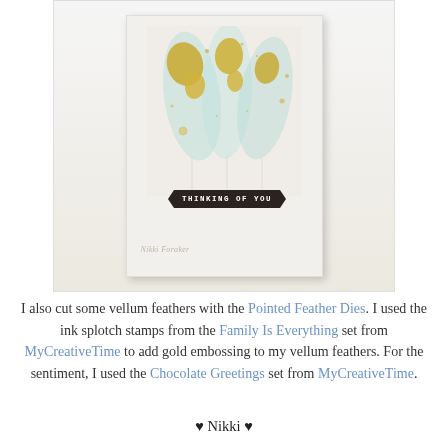[Figure (photo): A handmade greeting card with vellum feathers decorated with gold embossing and gold splatters, placed on a light background. The card features a dark banner with the text 'THINKING OF YOU' and a watermark 'Nikki Foraker' at the bottom left.]
I also cut some vellum feathers with the Pointed Feather Dies. I used the ink splotch stamps from the Family Is Everything set from MyCreativeTime to add gold embossing to my vellum feathers. For the sentiment, I used the Chocolate Greetings set from MyCreativeTime.
♥ Nikki ♥